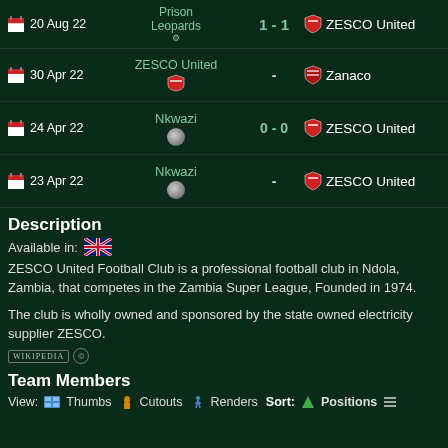20 Aug 22 | Prison Leopards | 1 - 1 | ZESCO United
30 Apr 22 | ZESCO United | - | Zanaco
24 Apr 22 | Nkwazi | 0 - 0 | ZESCO United
23 Apr 22 | Nkwazi | - | ZESCO United
Description
Available in: [UK flag]
ZESCO United Football Club is a professional football club in Ndola, Zambia, that competes in the Zambia Super League, Founded in 1974.
The club is wholly owned and sponsored by the state owned electricity supplier ZESCO.
Team Members
View: Thumbs  Cutouts  Renders  Sort: Positions